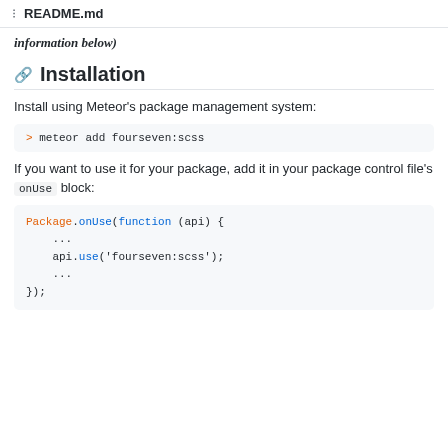☰ README.md
information below)
Installation
Install using Meteor's package management system:
> meteor add fourseven:scss
If you want to use it for your package, add it in your package control file's onUse block:
Package.onUse(function (api) {
    ...
    api.use('fourseven:scss');
    ...
});